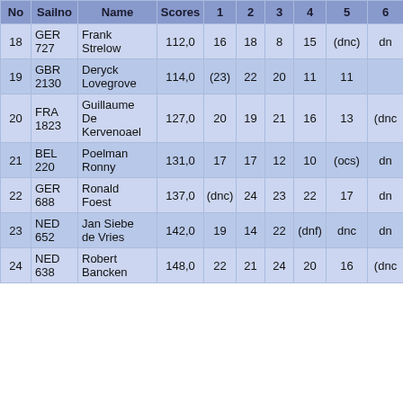| No | Sailno | Name | Scores | 1 | 2 | 3 | 4 | 5 | 6 |
| --- | --- | --- | --- | --- | --- | --- | --- | --- | --- |
| 18 | GER 727 | Frank Strelow | 112,0 | 16 | 18 | 8 | 15 | (dnc) | dn |
| 19 | GBR 2130 | Deryck Lovegrove | 114,0 | (23) | 22 | 20 | 11 | 11 |  |
| 20 | FRA 1823 | Guillaume De Kervenoael | 127,0 | 20 | 19 | 21 | 16 | 13 | (dnc |
| 21 | BEL 220 | Poelman Ronny | 131,0 | 17 | 17 | 12 | 10 | (ocs) | dn |
| 22 | GER 688 | Ronald Foest | 137,0 | (dnc) | 24 | 23 | 22 | 17 | dn |
| 23 | NED 652 | Jan Siebe de Vries | 142,0 | 19 | 14 | 22 | (dnf) | dnc | dn |
| 24 | NED 638 | Robert Bancken | 148,0 | 22 | 21 | 24 | 20 | 16 | (dnc |